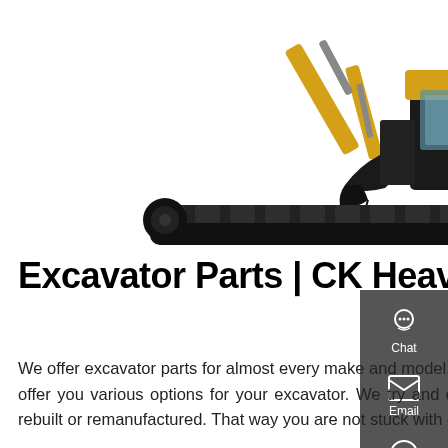[Figure (photo): Yellow and black mini excavator on white background, with arm raised and bucket extended, shown in side/front view]
Excavator Parts | CK Heavy Equipment Parts
We offer excavator parts for almost every make and model. With every parts request we receive, we do our best to offer you various options for your excavator. We try and quote you used, aftermarket, OEM (if we have surplus) and rebuilt or remanufactured. That way you are not stuck with only one solution. Our mission at CK Equipment